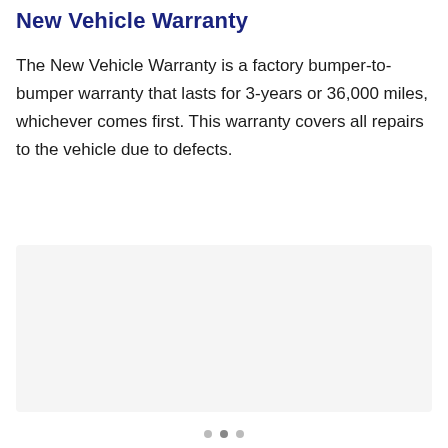New Vehicle Warranty
The New Vehicle Warranty is a factory bumper-to-bumper warranty that lasts for 3-years or 36,000 miles, whichever comes first. This warranty covers all repairs to the vehicle due to defects.
[Figure (other): Light gray placeholder image area below the warranty text]